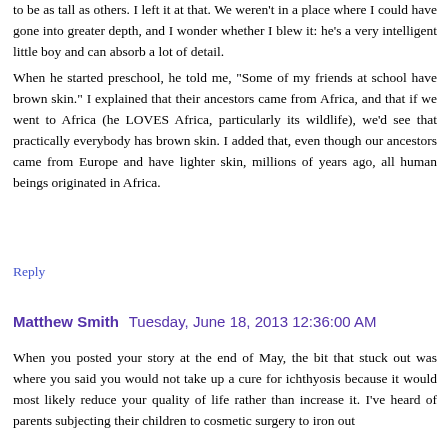to be as tall as others. I left it at that. We weren't in a place where I could have gone into greater depth, and I wonder whether I blew it: he's a very intelligent little boy and can absorb a lot of detail.
When he started preschool, he told me, "Some of my friends at school have brown skin." I explained that their ancestors came from Africa, and that if we went to Africa (he LOVES Africa, particularly its wildlife), we'd see that practically everybody has brown skin. I added that, even though our ancestors came from Europe and have lighter skin, millions of years ago, all human beings originated in Africa.
Reply
Matthew Smith  Tuesday, June 18, 2013 12:36:00 AM
When you posted your story at the end of May, the bit that stuck out was where you said you would not take up a cure for ichthyosis because it would most likely reduce your quality of life rather than increase it. I've heard of parents subjecting their children to cosmetic surgery to iron out